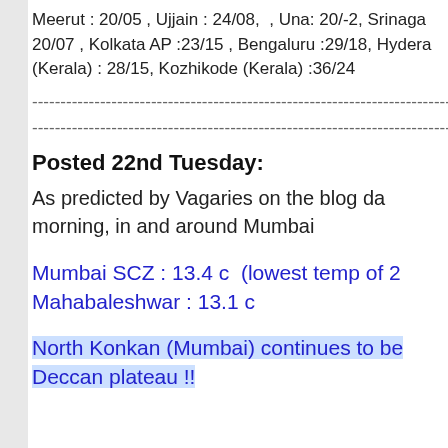Meerut : 20/05 , Ujjain : 24/08,  , Una: 20/-2, Srinaga 20/07 , Kolkata AP :23/15 , Bengaluru :29/18, Hydera (Kerala) : 28/15, Kozhikode (Kerala) :36/24
------------------------------------------------------------------------
------------------------------------------------------------------------
Posted 22nd Tuesday:
As predicted by Vagaries on the blog da morning, in and around Mumbai
Mumbai SCZ : 13.4 c  (lowest temp of 2
Mahabaleshwar : 13.1 c
North Konkan (Mumbai) continues to be Deccan plateau !!